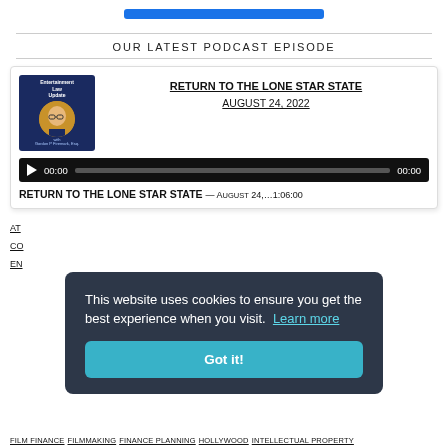OUR LATEST PODCAST EPISODE
[Figure (screenshot): Podcast episode card for 'Return to the Lone Star State' dated August 24, 2022, with a thumbnail showing the Entertainment Law Update podcast logo, an audio player UI with play button and progress bar showing 00:00 / 00:00, and a label row reading 'RETURN TO THE LONE STAR STATE — AUGUST 24,…1:06:00']
This website uses cookies to ensure you get the best experience when you visit.  Learn more
Got it!
AT... CO... EN... FILM FINANCE FILMMAKING FINANCE PLANNING HOLLYWOOD INTELLECTUAL PROPERTY...